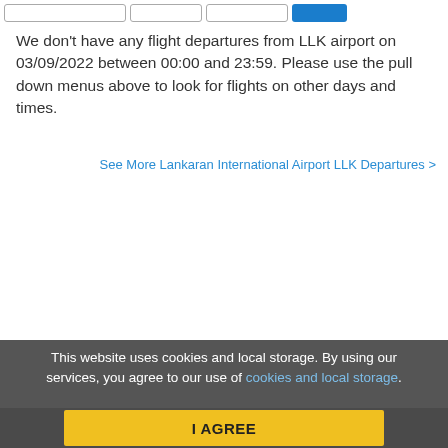[Figure (screenshot): Toolbar with three input fields and one blue button]
We don't have any flight departures from LLK airport on 03/09/2022 between 00:00 and 23:59. Please use the pull down menus above to look for flights on other days and times.
See More Lankaran International Airport LLK Departures >
This website uses cookies and local storage. By using our services, you agree to our use of cookies and local storage.
I AGREE